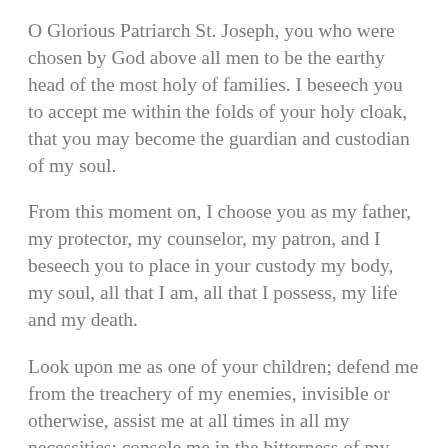O Glorious Patriarch St. Joseph, you who were chosen by God above all men to be the earthy head of the most holy of families. I beseech you to accept me within the folds of your holy cloak, that you may become the guardian and custodian of my soul.
From this moment on, I choose you as my father, my protector, my counselor, my patron, and I beseech you to place in your custody my body, my soul, all that I am, all that I possess, my life and my death.
Look upon me as one of your children; defend me from the treachery of my enemies, invisible or otherwise, assist me at all times in all my necessities; console me in the bitterness of my life, and especially at the hour of my death. Say but one word for me to the Divine Redeemer whom you were deemed worthy to hold in your arms, and to the Blessed Virgin Mary, your most chaste spouse. Request for me those blessings which will lead me to salvation. Include me amongst those who are most dear...